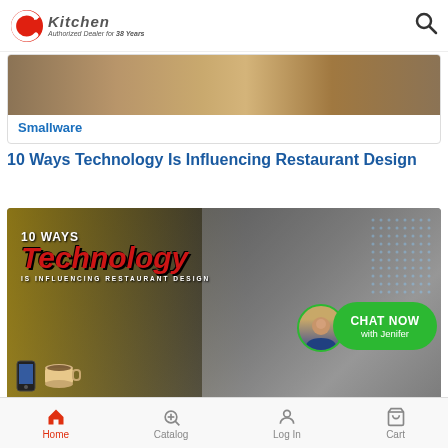CKitchen — Authorized Dealer for 38 Years
[Figure (photo): Smallware category card with wood/table background image]
Smallware
10 Ways Technology Is Influencing Restaurant Design
[Figure (photo): Banner image reading '10 WAYS Technology IS INFLUENCING RESTAURANT DESIGN' with hands shaking over a table with coffee and phone, and a chat bubble with Jenifer]
Home   Catalog   Log In   Cart